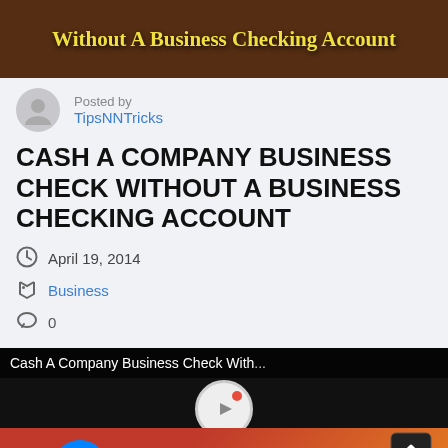[Figure (screenshot): Banner image with yellow text reading 'Without A Business Checking Account' on a dark brown/people background]
Posted by
TipsNNTricks
CASH A COMPANY BUSINESS CHECK WITHOUT A BUSINESS CHECKING ACCOUNT
April 19, 2014
Business
0
[Figure (screenshot): Video thumbnail showing 'Cash A Company Business Check With...' title bar, a record button with red dot, and yellow text 'Cashing Busines...' on red/orange background, with Facebook Messenger icon overlay]